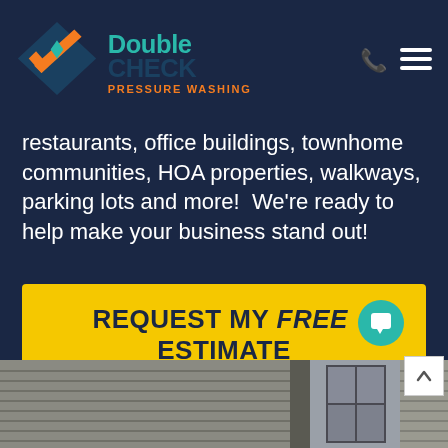[Figure (logo): Double Check Pressure Washing logo with checkmark icon and company name text]
restaurants, office buildings, townhome communities, HOA properties, walkways, parking lots and more!  We're ready to help make your business stand out!
REQUEST MY FREE ESTIMATE
[Figure (photo): Gray weathered house siding with window visible in background]